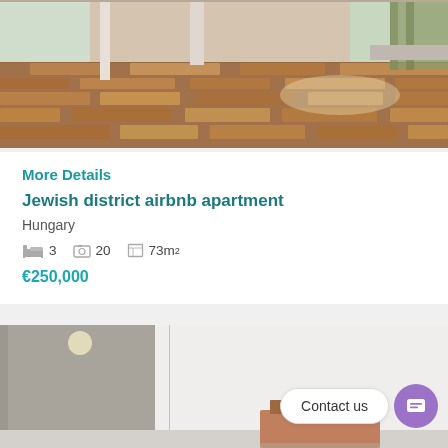[Figure (photo): Interior photo of an apartment showing wooden parquet floors, white walls, and windows with green curtains]
More Details
Jewish district airbnb apartment
Hungary
3  20  73m²
€250,000
[Figure (photo): Interior photo of an apartment hallway/room with white walls and a piece of furniture visible]
Contact us